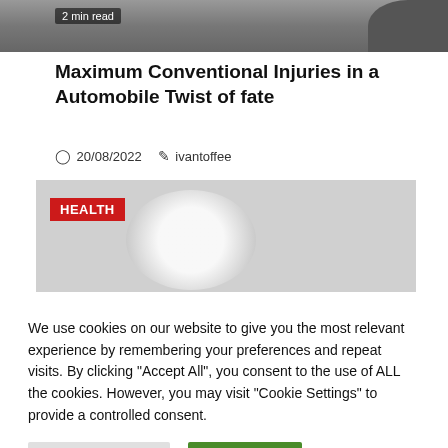[Figure (photo): Top portion of an article image showing a road/car scene with a '2 min read' badge overlay]
Maximum Conventional Injuries in a Automobile Twist of fate
20/08/2022  ivantoffee
[Figure (photo): Grey placeholder image with a HEALTH category badge in red and a white circle blur in the center]
We use cookies on our website to give you the most relevant experience by remembering your preferences and repeat visits. By clicking "Accept All", you consent to the use of ALL the cookies. However, you may visit "Cookie Settings" to provide a controlled consent.